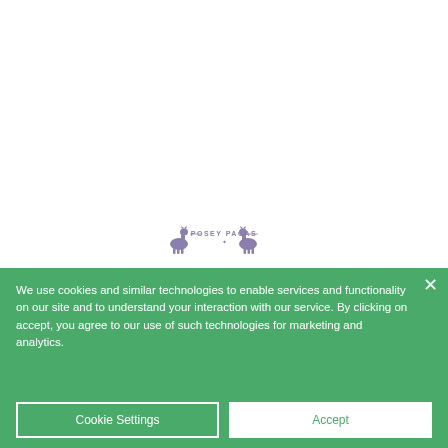[Figure (logo): Posey Pacas logo with two alpaca silhouettes flanking the text 'POSEY PACAS' with a decorative divider, in light purple/lavender color]
We use cookies and similar technologies to enable services and functionality on our site and to understand your interaction with our service. By clicking on accept, you agree to our use of such technologies for marketing and analytics.
Cookie Settings
Accept